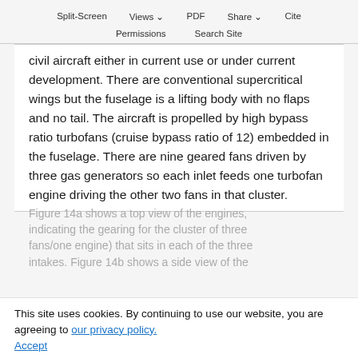Split-Screen  Views  PDF  Share  Cite  Permissions  Search Site
civil aircraft either in current use or under current development. There are conventional supercritical wings but the fuselage is a lifting body with no flaps and no tail. The aircraft is propelled by high bypass ratio turbofans (cruise bypass ratio of 12) embedded in the fuselage. There are nine geared fans driven by three gas generators so each inlet feeds one turbofan engine driving the other two fans in that cluster.
Figure 14a shows a top view of the engines, indicating the gearing for the cluster of three fans/one engine) that sits in each of the three intakes. Figure 14b shows a side view of the
This site uses cookies. By continuing to use our website, you are agreeing to our privacy policy. Accept